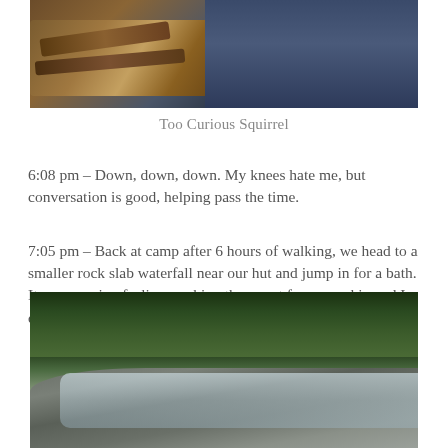[Figure (photo): Top portion of a photo showing a person in a dark blue jacket standing near logs or wooden structure in an outdoor/forest setting]
Too Curious Squirrel
6:08 pm – Down, down, down. My knees hate me, but conversation is good, helping pass the time.
7:05 pm – Back at camp after 6 hours of walking, we head to a smaller rock slab waterfall near our hut and jump in for a bath. Its an amazing feeling washing the sweat from my skin and I, quite incorrectly, feel as clean as I've ever felt.
[Figure (photo): Bottom portion showing a rock slab waterfall with smooth grey rocks, flowing water, and dense green forest in the background]